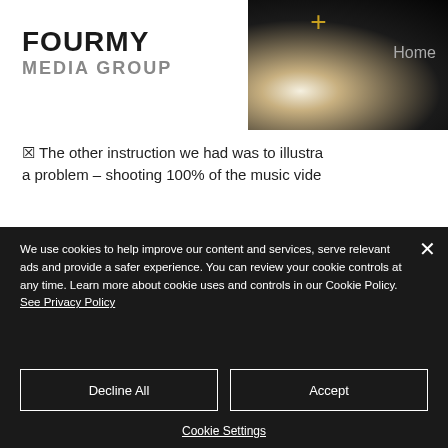[Figure (photo): Dark hero image with silhouette of a cow and a golden plus sign overlay, with a 'Home' navigation link visible]
FOURMY MEDIA GROUP
☒ The other instruction we had was to illustrate a problem - shooting 100% of the music vide...
We use cookies to help improve our content and services, serve relevant ads and provide a safer experience. You can review your cookie controls at any time. Learn more about cookie uses and controls in our Cookie Policy. See Privacy Policy
Decline All
Accept
Cookie Settings